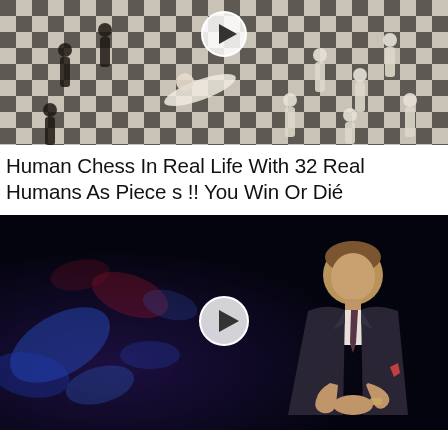[Figure (photo): Aerial view of people on a large black-and-white checkerboard floor, acting as human chess pieces. One person is lying on the floor. A circular play button overlay is visible at the top center.]
Human Chess In Real Life With 32 Real Humans As Pieces !! You Win Or Dié
[Figure (screenshot): A man in a dark suit with a striped tie stands in a dark studio with blue and red lighting in the background. A circular play button overlay is centered on the image.]